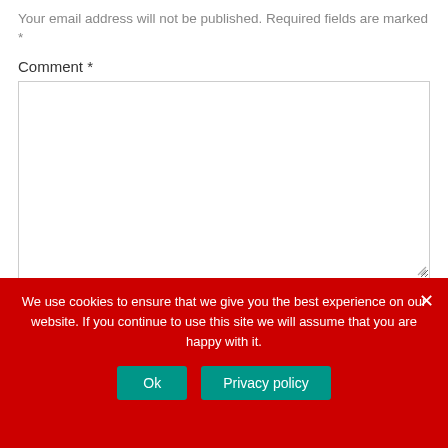Your email address will not be published. Required fields are marked *
Comment *
[Figure (screenshot): Empty comment text area input box with resize handle]
We use cookies to ensure that we give you the best experience on our website. If you continue to use this site we will assume that you are happy with it.
Ok
Privacy policy